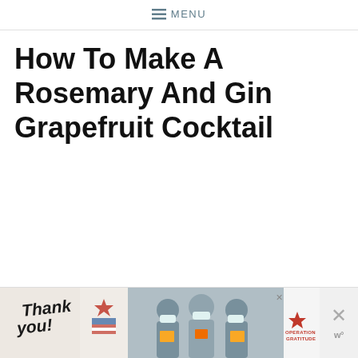≡ MENU
How To Make A Rosemary And Gin Grapefruit Cocktail
[Figure (other): Advertisement banner showing 'Thank you!' text with a star graphic, a photo of three masked medical workers holding cards, and the Operation Gratitude logo with a close button and W logo on the right side.]